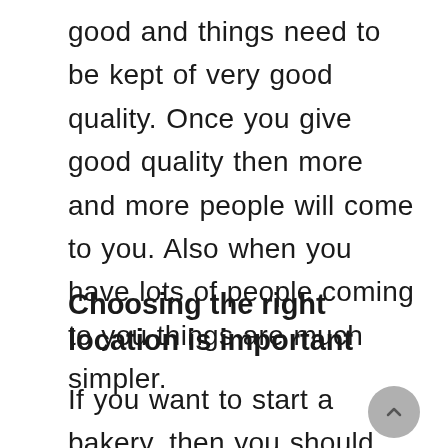good and things need to be kept of very good quality. Once you give good quality then more and more people will come to you. Also when you have lots of people coming to you things are much simpler.
Choosing the right location is important
If you want to start a bakery, then you should not waste your time to